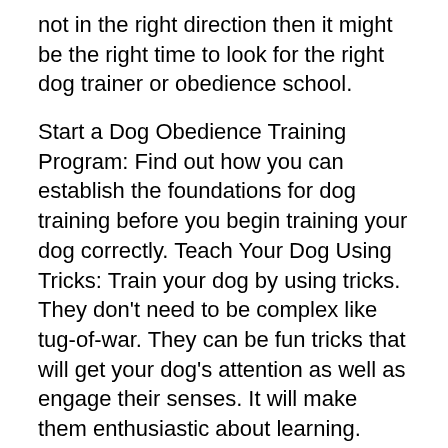not in the right direction then it might be the right time to look for the right dog trainer or obedience school.
Start a Dog Obedience Training Program: Find out how you can establish the foundations for dog training before you begin training your dog correctly. Teach Your Dog Using Tricks: Train your dog by using tricks. They don't need to be complex like tug-of-war. They can be fun tricks that will get your dog's attention as well as engage their senses. It will make them enthusiastic about learning.
Help Your Dog Learn Obedience Each Time: This is probably the most crucial aspect that dogs learn. It's not necessary to do it every